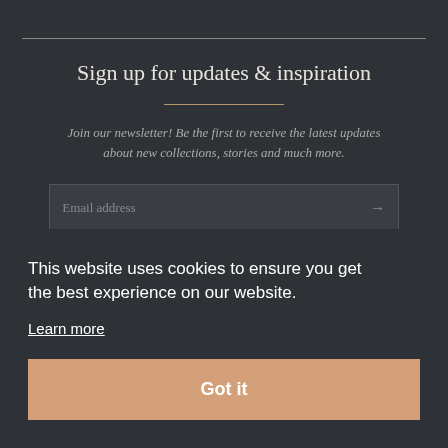Sign up for updates & inspiration
Join our newsletter! Be the first to receive the latest updates about new collections, stories and much more.
Email address
This website uses cookies to ensure you get the best experience on our website.
Learn more
Got it